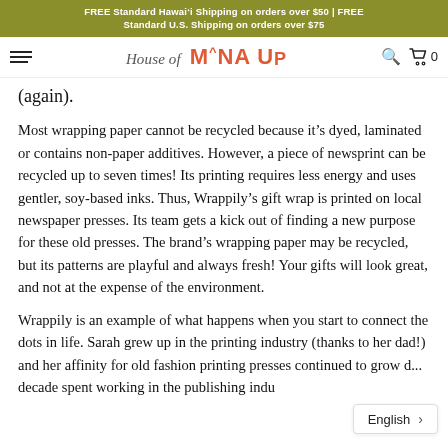FREE Standard Hawai'i Shipping on orders over $50 | FREE Standard U.S. Shipping on orders over $75
House of M^NA UP
(again).
Most wrapping paper cannot be recycled because it’s dyed, laminated or contains non-paper additives. However, a piece of newsprint can be recycled up to seven times! Its printing requires less energy and uses gentler, soy-based inks. Thus, Wrappily’s gift wrap is printed on local newspaper presses. Its team gets a kick out of finding a new purpose for these old presses. The brand’s wrapping paper may be recycled, but its patterns are playful and always fresh! Your gifts will look great, and not at the expense of the environment.
Wrappily is an example of what happens when you start to connect the dots in life. Sarah grew up in the printing industry (thanks to her dad!) and her affinity for old fashion printing presses continued to grow d... decade spent working in the publishing indu...